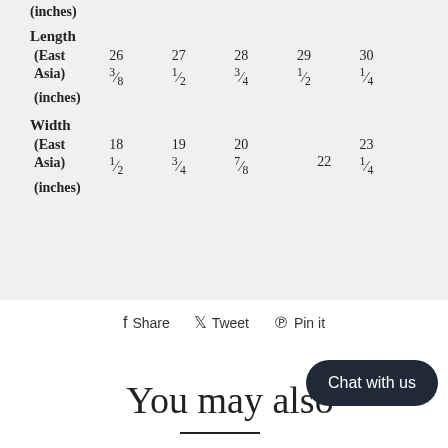(inches)
Length
| (East Asia) | 26 ⅜ | 27 ½ | 28 ¾ | 29 ½ | 30 ¼ |
| (inches) |  |  |  |  |  |
Width
| (East Asia) | 18 ½ | 19 ¾ | 20 ⅞ | 22 | 23 ¼ |
| (inches) |  |  |  |  |  |
Share   Tweet   Pin it
You may also
Chat with us